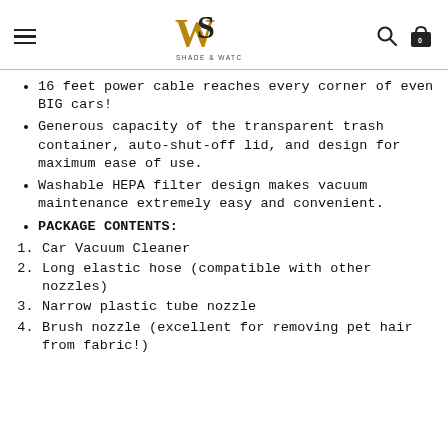Shade & Watches logo header with navigation
16 feet power cable reaches every corner of even BIG cars!
Generous capacity of the transparent trash container, auto-shut-off lid, and design for maximum ease of use.
Washable HEPA filter design makes vacuum maintenance extremely easy and convenient.
PACKAGE CONTENTS:
Car Vacuum Cleaner
Long elastic hose (compatible with other nozzles)
Narrow plastic tube nozzle
Brush nozzle (excellent for removing pet hair from fabric!)